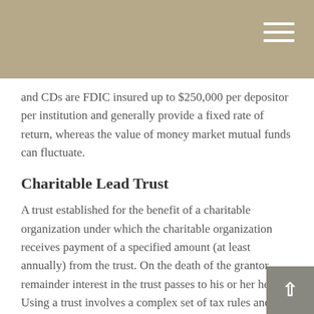and CDs are FDIC insured up to $250,000 per depositor per institution and generally provide a fixed rate of return, whereas the value of money market mutual funds can fluctuate.
Charitable Lead Trust
A trust established for the benefit of a charitable organization under which the charitable organization receives payment of a specified amount (at least annually) from the trust. On the death of the grantor, remainder interest in the trust passes to his or her heirs. Using a trust involves a complex set of tax rules and regulations. Before moving forward with a trust, consider working with a professional who is familiar with the rules and regulations.
Charitable Remainder Trust